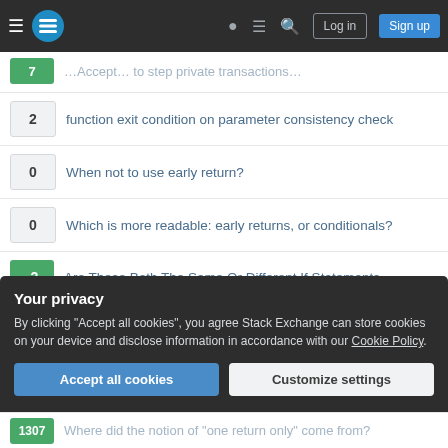Stack Exchange navigation bar with Log in and Sign up buttons
7 [clipped] — [partially visible question about private transactions]
2 — function exit condition on parameter consistency check
0 — When not to use early return?
0 — Which is more readable: early returns, or conditionals?
-2 — Are These Both The Same Or Different If Statements
-3 — Best practices: Number of return statements
1307 — Where did the notion of "one return only" come from?
72 — Should I follow the normal path or fail early?
Your privacy
By clicking "Accept all cookies", you agree Stack Exchange can store cookies on your device and disclose information in accordance with our Cookie Policy.
Accept all cookies | Customize settings
1307 — Where did the notion of "one return only" come from? (partially visible at bottom)